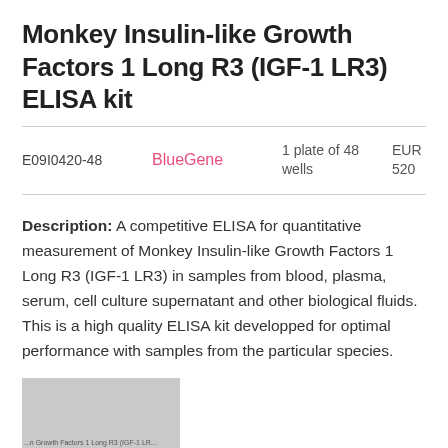Monkey Insulin-like Growth Factors 1 Long R3 (IGF-1 LR3) ELISA kit
| Code | Brand | Size | Price |
| --- | --- | --- | --- |
| E09I0420-48 | BlueGene | 1 plate of 48 wells | EUR 520 |
Description: A competitive ELISA for quantitative measurement of Monkey Insulin-like Growth Factors 1 Long R3 (IGF-1 LR3) in samples from blood, plasma, serum, cell culture supernatant and other biological fluids. This is a high quality ELISA kit developped for optimal performance with samples from the particular species.
[Figure (photo): Partially visible product image thumbnail with text overlay referencing Growth Factors 1 Long R3 (IGF-1 LR3)]